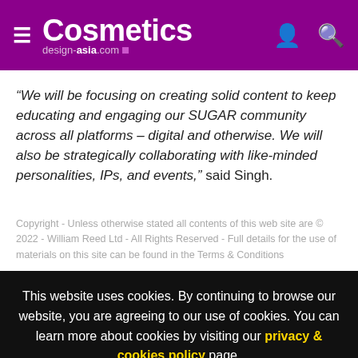Cosmetics design-asia.com
“We will be focusing on creating solid content to keep educating and engaging our SUGAR community across all platforms – digital and otherwise. We will also be strategically collaborating with like-minded personalities, IPs, and events,” said Singh.
Copyright - Unless otherwise stated all contents of this web site are © 2022 - William Reed Ltd - All Rights Reserved - Full details for the use of materials on this site can be found in the Terms & Conditions
This website uses cookies. By continuing to browse our website, you are agreeing to our use of cookies. You can learn more about cookies by visiting our privacy & cookies policy page.
I Agree